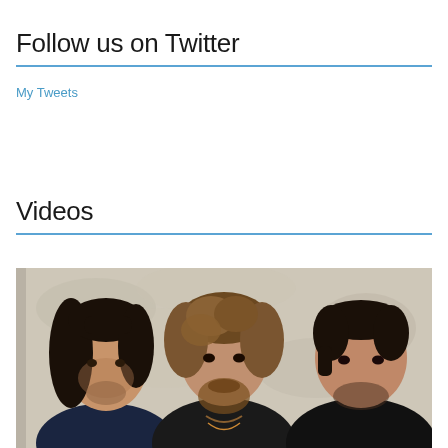Follow us on Twitter
My Tweets
Videos
[Figure (photo): Three men posing against a white textured wall. The man on the left has long dark hair and a dark shirt. The man in the center has medium-length wavy brown hair and a short beard, wearing a dark shirt with necklaces. The man on the right has short dark hair and is wearing a dark shirt. All three are looking directly at the camera.]